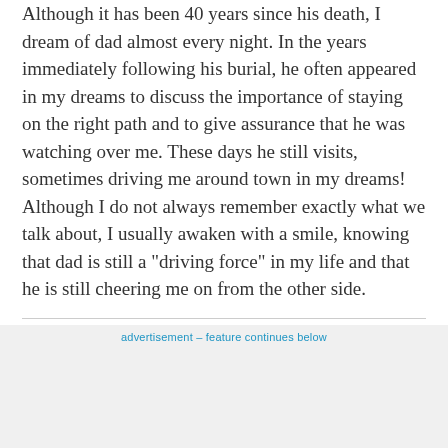Although it has been 40 years since his death, I dream of dad almost every night. In the years immediately following his burial, he often appeared in my dreams to discuss the importance of staying on the right path and to give assurance that he was watching over me. These days he still visits, sometimes driving me around town in my dreams! Although I do not always remember exactly what we talk about, I usually awaken with a smile, knowing that dad is still a "driving force" in my life and that he is still cheering me on from the other side.
[Figure (other): Advertisement banner for ULTA beauty products showing makeup images with 'SHOP NOW' button. Label reads 'advertisement – feature continues below'.]